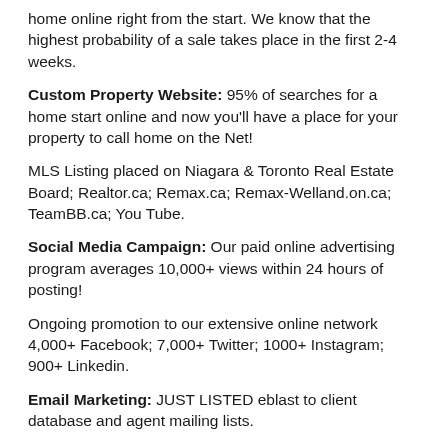home online right from the start. We know that the highest probability of a sale takes place in the first 2-4 weeks.
Custom Property Website: 95% of searches for a home start online and now you'll have a place for your property to call home on the Net!
MLS Listing placed on Niagara & Toronto Real Estate Board; Realtor.ca; Remax.ca; Remax-Welland.on.ca; TeamBB.ca; You Tube.
Social Media Campaign: Our paid online advertising program averages 10,000+ views within 24 hours of posting!
Ongoing promotion to our extensive online network 4,000+ Facebook; 7,000+ Twitter; 1000+ Instagram; 900+ Linkedin.
Email Marketing: JUST LISTED eblast to client database and agent mailing lists.
Community Blog Promotion: Feature articles on myNiagaraOnline.com; myBolham.com.